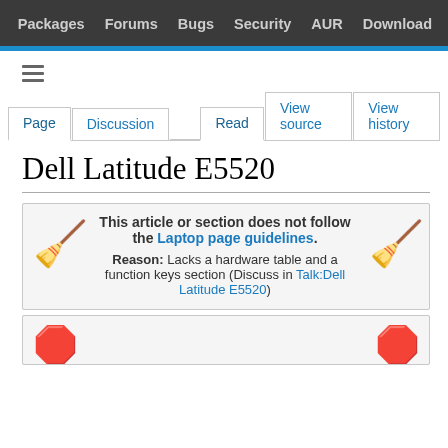Packages  Forums  Bugs  Security  AUR  Download
Dell Latitude E5520
This article or section does not follow the Laptop page guidelines.
Reason: Lacks a hardware table and a function keys section (Discuss in Talk:Dell Latitude E5520)